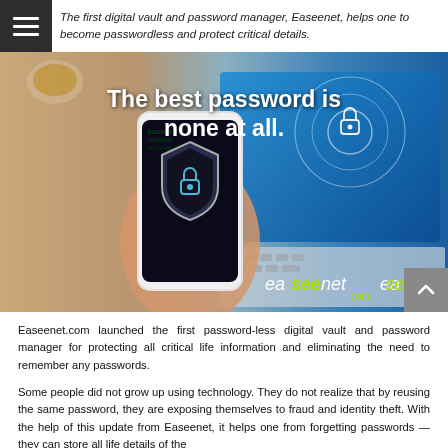The first digital vault and password manager, Easeenet, helps one to become passwordless and protect critical details.
[Figure (photo): Hero image showing a hand holding a smartphone with a security shield/lock icon on screen, in front of a laptop with a blue digital security interface. Text overlay reads: The best password is none at all. Easeenet logo in the bottom-right corner.]
Easeenet.com launched the first password-less digital vault and password manager for protecting all critical life information and eliminating the need to remember any passwords.
Some people did not grow up using technology. They do not realize that by reusing the same password, they are exposing themselves to fraud and identity theft. With the help of this update from Easeenet, it helps one from forgetting passwords — they can store all life details of the